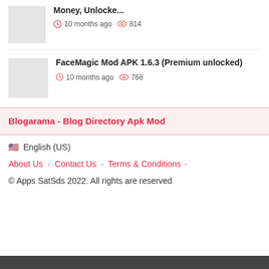Money, Unlocke... — 10 months ago · 814 views
FaceMagic Mod APK 1.6.3 (Premium unlocked) — 10 months ago · 768 views
Blogarama - Blog Directory Apk Mod
🇺🇸  English (US)
About Us · Contact Us · Terms & Conditions ·
© Apps SatSds 2022. All rights are reserved